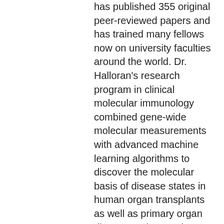has published 355 original peer-reviewed papers and has trained many fellows now on university faculties around the world. Dr. Halloran's research program in clinical molecular immunology combined gene-wide molecular measurements with advanced machine learning algorithms to discover the molecular basis of disease states in human organ transplants as well as primary organ diseases. His team has developed a new diagnostic system for organ transplant biopsies using microarrays, the Molecular Microscope Diagnostic System (MMDx). He is an elected member of the American Society for Clinical Investigation, a fellow of the Royal Society of Canada, and an officer of the Order of